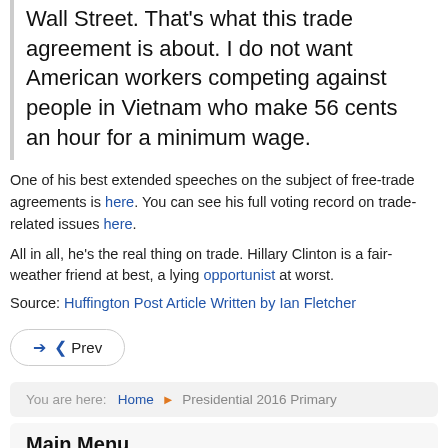Wall Street. That's what this trade agreement is about. I do not want American workers competing against people in Vietnam who make 56 cents an hour for a minimum wage.
One of his best extended speeches on the subject of free-trade agreements is here. You can see his full voting record on trade-related issues here.
All in all, he's the real thing on trade. Hillary Clinton is a fair-weather friend at best, a lying opportunist at worst.
Source: Huffington Post Article Written by Ian Fletcher
◀ Prev
You are here: Home ▶ Presidential 2016 Primary
Main Menu
Home
Presidential 2020 Candidates
Presidential 2016 Primary